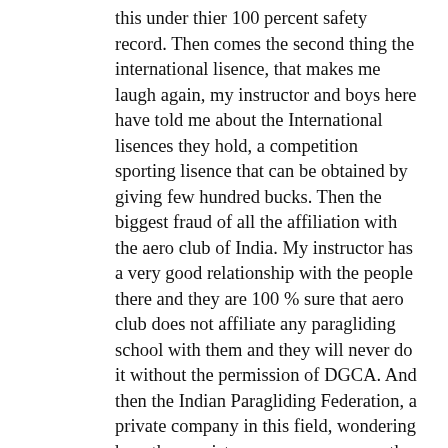this under thier 100 percent safety record. Then comes the second thing the international lisence, that makes me laugh again, my instructor and boys here have told me about the International lisences they hold, a competition sporting lisence that can be obtained by giving few hundred bucks. Then the biggest fraud of all the affiliation with the aero club of India. My instructor has a very good relationship with the people there and they are 100 % sure that aero club does not affiliate any paragliding school with them and they will never do it without the permission of DGCA. And then the Indian Paragliding Federation, a private company in this field, wondering how they register one company over the other, can they cheat the people if they hold the name that spells like something official. I dont wanna comment anything more here.